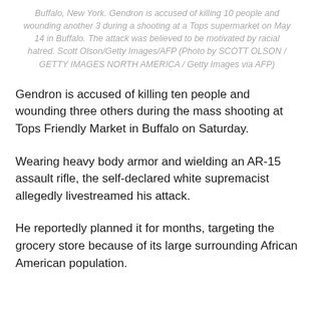Buffalo, New York. Gendron is accused of killing 10 people and wounding another 3 during a shooting at a Tops supermarket on May 14 in Buffalo. The attack was believed to be motivated by racial hatred. Scott Olson/Getty Images/AFP (Photo by SCOTT OLSON / GETTY IMAGES NORTH AMERICA / Getty Images via AFP)
Gendron is accused of killing ten people and wounding three others during the mass shooting at Tops Friendly Market in Buffalo on Saturday.
Wearing heavy body armor and wielding an AR-15 assault rifle, the self-declared white supremacist allegedly livestreamed his attack.
He reportedly planned it for months, targeting the grocery store because of its large surrounding African American population.